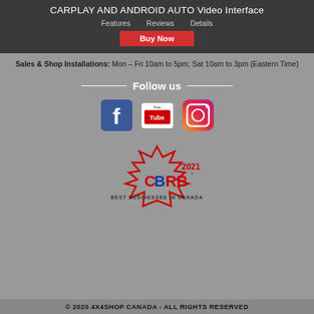CARPLAY AND ANDROID AUTO Video Interface
Features   Reviews   Details
Buy Now
Sales & Shop Installations: Mon – Fri 10am to 5pm; Sat 10am to 3pm (Eastern Time)
Follow us
[Figure (logo): Social media icons: Facebook, YouTube, Instagram]
[Figure (logo): CBRB 2021 Best Businesses in Canada logo with red maple leaf and blue/red text]
© 2020 4X4SHOP CANADA - ALL RIGHTS RESERVED